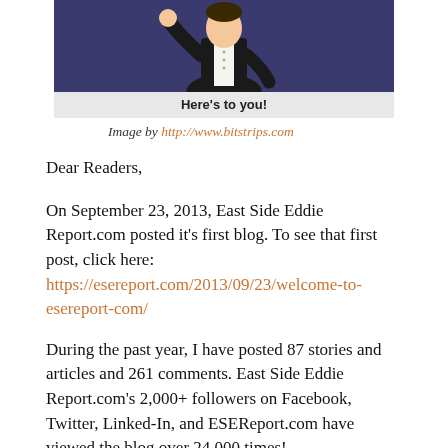[Figure (illustration): Cartoon illustration of a man in a black tuxedo/suit raising a fist, on a dark purple/navy background. Partial figure showing upper body.]
Here's to you!
Image by http://www.bitstrips.com
Dear Readers,
On September 23, 2013, East Side Eddie Report.com posted it's first blog. To see that first post, click here: https://esereport.com/2013/09/23/welcome-to-esereport-com/
During the past year, I have posted 87 stories and articles and 261 comments. East Side Eddie Report.com's 2,000+ followers on Facebook, Twitter, Linked-In, and ESEReport.com have viewed the blog over 24,000 times!